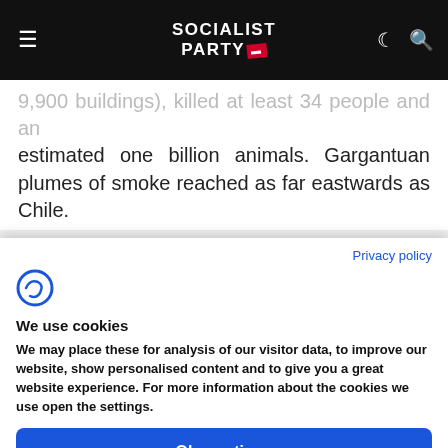Socialist Party
5,900 buildings), killed at least 34 people and an estimated one billion animals. Gargantuan plumes of smoke reached as far eastwards as Chile.
Four months on and these events now seem like
Privacy policy
[Figure (logo): Funding Choices cookie consent logo icon]
We use cookies
We may place these for analysis of our visitor data, to improve our website, show personalised content and to give you a great website experience. For more information about the cookies we use open the settings.
Ok, continue
Deny
No, adjust